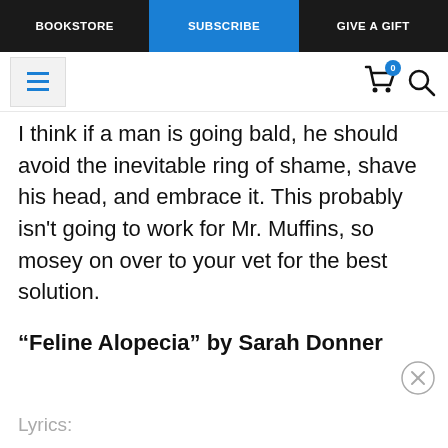BOOKSTORE | SUBSCRIBE | GIVE A GIFT
I think if a man is going bald, he should avoid the inevitable ring of shame, shave his head, and embrace it. This probably isn't going to work for Mr. Muffins, so mosey on over to your vet for the best solution.
“Feline Alopecia” by Sarah Donner
Lyrics: